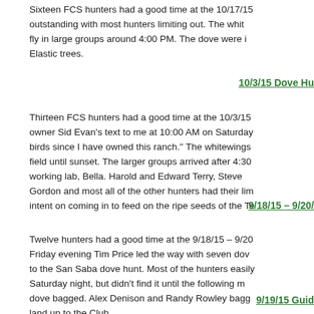Sixteen FCS hunters had a good time at the 10/17/15 outstanding with most hunters limiting out. The whit fly in large groups around 4:00 PM. The dove were i Elastic trees.
10/3/15 Dove Hu
Thirteen FCS hunters had a good time at the 10/3/15 owner Sid Evan's text to me at 10:00 AM on Saturday birds since I have owned this ranch." The whitewings field until sunset. The larger groups arrived after 4:3 working lab, Bella. Harold and Edward Terry, Steve Gordon and most all of the other hunters had their lim intent on coming in to feed on the ripe seeds of the Te
9/18/15 – 9/20/
Twelve hunters had a good time at the 9/18/15 – 9/20 Friday evening Tim Price led the way with seven dov to the San Saba dove hunt. Most of the hunters easily Saturday night, but didn't find it until the following m dove bagged. Alex Denison and Randy Rowley bagg land up to the Club.
9/19/15 Guid